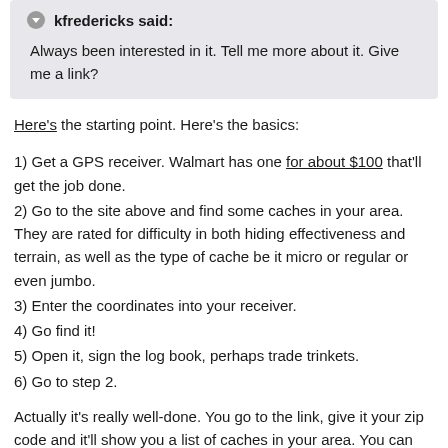kfredericks said: Always been interested in it. Tell me more about it. Give me a link?
Here's the starting point. Here's the basics:
1) Get a GPS receiver. Walmart has one for about $100 that'll get the job done.
2) Go to the site above and find some caches in your area. They are rated for difficulty in both hiding effectiveness and terrain, as well as the type of cache be it micro or regular or even jumbo.
3) Enter the coordinates into your receiver.
4) Go find it!
5) Open it, sign the log book, perhaps trade trinkets.
6) Go to step 2.
Actually it's really well-done. You go to the link, give it your zip code and it'll show you a list of caches in your area. You can select to "Search for caches with Google Maps" and you'll see all of them that surround your location. It's interesting to see how many you might pass every day without knowing anything's even there. I was stunned to discover that